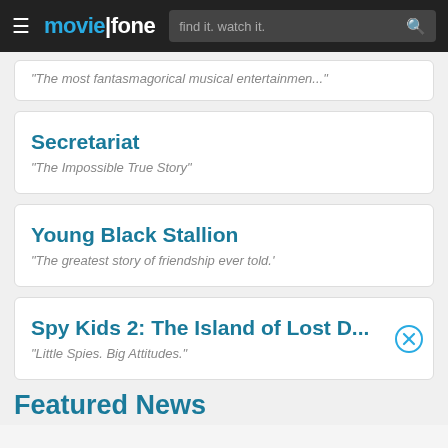moviefone — find it. watch it.
"The most fantasmagorical musical entertainmen..."
Secretariat
"The Impossible True Story"
Young Black Stallion
"The greatest story of friendship ever told.'
Spy Kids 2: The Island of Lost D...
"Little Spies. Big Attitudes."
Featured News